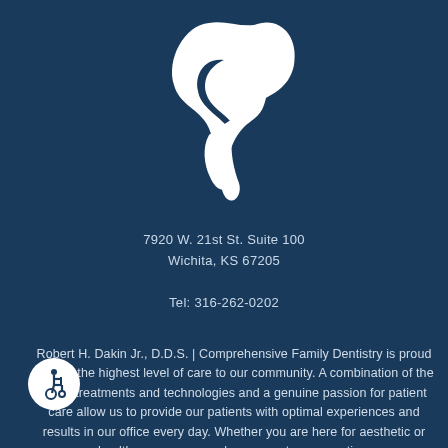[Figure (logo): White stylized tooth/dental logo on dark blue background]
7920 W. 21st St. Suite 100
Wichita, KS 67205
Tel: 316-262-0202
Robert H. Dakin Jr., D.D.S. | Comprehensive Family Dentistry is proud to offer the highest level of care to our community. A combination of the latest treatments and technologies and a genuine passion for patient care allow us to provide our patients with optimal experiences and results in our office every day. Whether you are here for aesthetic or health reasons, we welcome you to our practice.
[Figure (illustration): Wheelchair accessibility icon in white circle on bottom left]